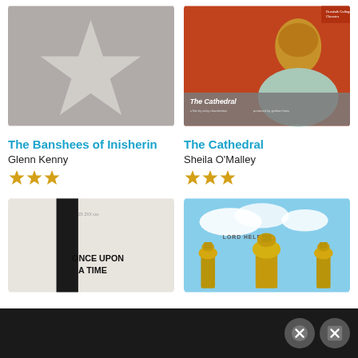[Figure (illustration): Movie poster for The Banshees of Inisherin — grey background with large white five-pointed star]
[Figure (illustration): Movie poster for The Cathedral — red/orange background with figure of person with short hair in light blue top, grey text band at bottom]
The Banshees of Inisherin
The Cathedral
Glenn Kenny
Sheila O'Malley
[Figure (illustration): Star rating: 3 and a half stars (gold) for The Banshees of Inisherin]
[Figure (illustration): Star rating: 3 and a half stars (gold) for The Cathedral]
[Figure (illustration): Partial movie poster bottom-left: Once Upon a Time — black and white minimalist design]
[Figure (illustration): Partial movie poster bottom-right: Lord Help Us — blue sky with ornate golden architectural elements]